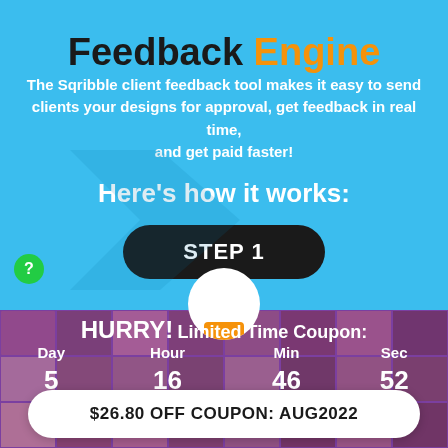Feedback Engine
The Sqribble client feedback tool makes it easy to send clients your designs for approval, get feedback in real time, and get paid faster!
Here's how it works:
STEP 1
HURRY! Limited Time Coupon:
| Day | Hour | Min | Sec |
| --- | --- | --- | --- |
| 5 | 16 | 46 | 52 |
$26.80 OFF COUPON: AUG2022